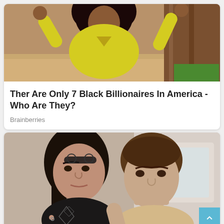[Figure (photo): Person in yellow outfit with arms raised, outdoor background]
Ther Are Only 7 Black Billionaires In America - Who Are They?
Brainberries
[Figure (photo): Two young people posing together closely, selfie-style photo on a boat or outdoor setting]